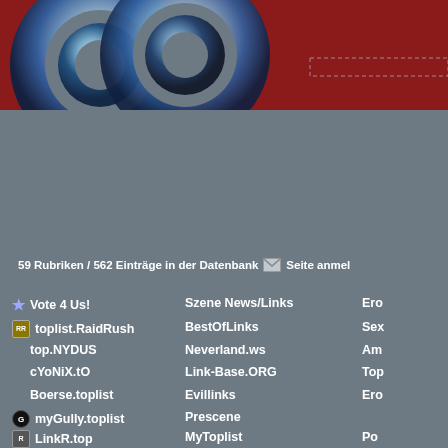[Figure (screenshot): Website header banner with dark red background and chrome/metallic logo circles on left side]
59 Rubriken / 562 Einträge in der Datenbank  Seite anmelden
Vote 4 Us!
toplist.RaidRush
top.NYDUS
cYoNiX.tO
Boerse.toplist
myGully.toplist
LinkR.top
Szene News/Links
BestOfLinks
Neverland.ws
Link-Base.ORG
Evillinks
Prescene
MyToplist
Ero
Sex
Am
Top
Ero
Po